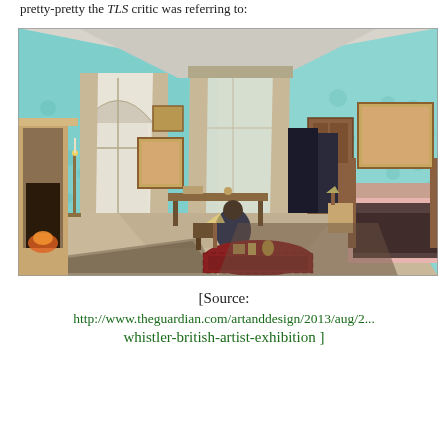pretty-pretty the TLS critic was referring to:
[Figure (illustration): Watercolor and ink illustration of a Victorian interior room with light blue-green walls, tall windows with draped curtains, framed paintings, a fireplace on the left, a bed on the right, and a figure seated at a table in the center foreground.]
[Source: http://www.theguardian.com/artanddesign/2013/aug/2... whistler-british-artist-exhibition ]